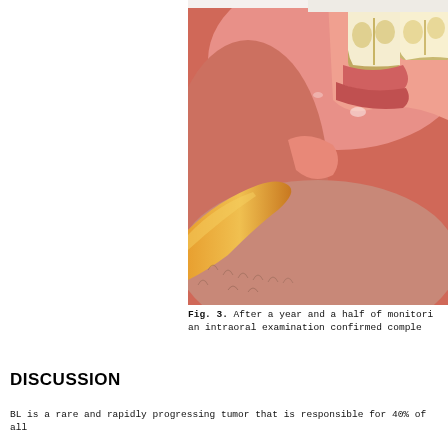[Figure (photo): Intraoral clinical photograph showing the oral cavity with teeth visible (upper molars/premolars) and surrounding soft tissue (gingiva, buccal mucosa), taken after a year and a half of monitoring. The image shows pink/red soft tissue and healthy-looking dentition.]
Fig. 3. After a year and a half of monitoring, an intraoral examination confirmed comple...
DISCUSSION
BL is a rare and rapidly progressing tumor that is responsible for 40% of all...